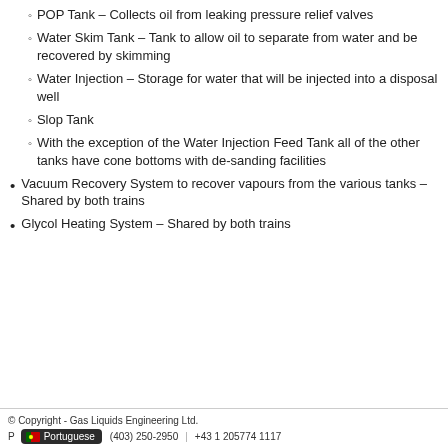POP Tank – Collects oil from leaking pressure relief valves
Water Skim Tank – Tank to allow oil to separate from water and be recovered by skimming
Water Injection – Storage for water that will be injected into a disposal well
Slop Tank
With the exception of the Water Injection Feed Tank all of the other tanks have cone bottoms with de-sanding facilities
Vacuum Recovery System to recover vapours from the various tanks – Shared by both trains
Glycol Heating System – Shared by both trains
© Copyright - Gas Liquids Engineering Ltd.   P... (403) 250-2950  |  +43 1 205774 1117